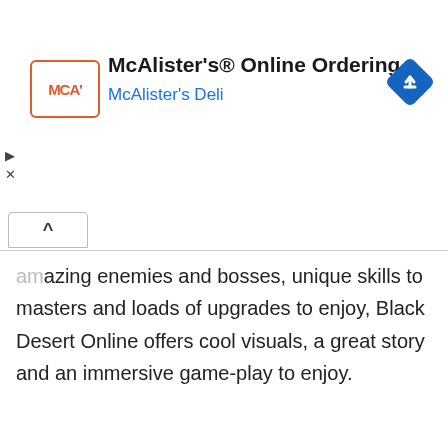[Figure (screenshot): McAlister's Deli advertisement banner with logo, title 'McAlister's® Online Ordering', subtitle 'McAlister's Deli', and a blue navigation diamond icon on the right. Play and close icons on the left edge.]
[Figure (other): Collapse/minimize chevron button (^) in a white rounded-top box above a horizontal divider line]
amazing enemies and bosses, unique skills to masters and loads of upgrades to enjoy, Black Desert Online offers cool visuals, a great story and an immersive game-play to enjoy.
[Figure (infographic): Windows logo icon and a globe/world icon representing platform availability]
[Figure (other): Orange button with info icon and text 'SHOW DETAILS']
#5 Ensemble Online
[Figure (photo): Partial thumbnail image at bottom left]